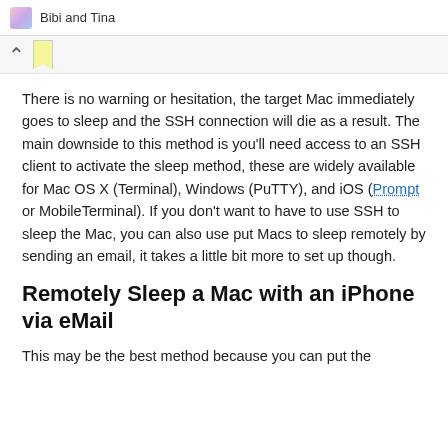Bibi and Tina
There is no warning or hesitation, the target Mac immediately goes to sleep and the SSH connection will die as a result. The main downside to this method is you'll need access to an SSH client to activate the sleep method, these are widely available for Mac OS X (Terminal), Windows (PuTTY), and iOS (Prompt or MobileTerminal). If you don't want to have to use SSH to sleep the Mac, you can also use put Macs to sleep remotely by sending an email, it takes a little bit more to set up though.
Remotely Sleep a Mac with an iPhone via eMail
This may be the best method because you can put the